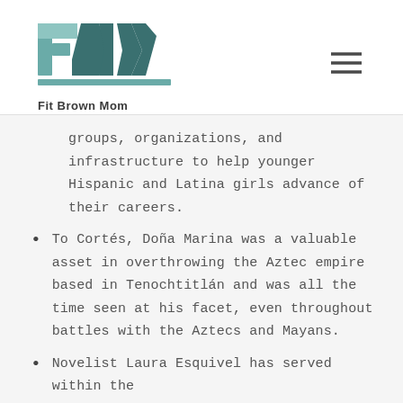[Figure (logo): Fit Brown Mom logo with stylized 'FBM' letters in teal/dark teal colors above text 'Fit Brown Mom']
groups, organizations, and infrastructure to help younger Hispanic and Latina girls advance of their careers.
To Cortés, Doña Marina was a valuable asset in overthrowing the Aztec empire based in Tenochtitlán and was all the time seen at his facet, even throughout battles with the Aztecs and Mayans.
Novelist Laura Esquivel has served within the